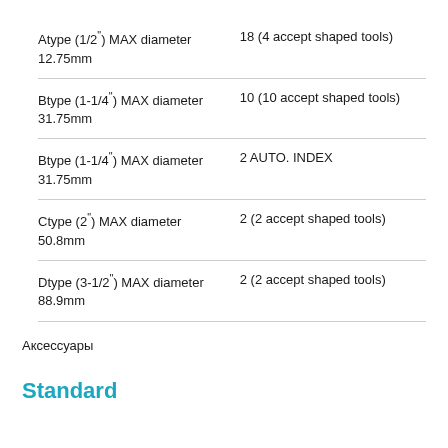| Atype (1/2") MAX diameter 12.75mm | 18 (4 accept shaped tools) |
| Btype (1-1/4") MAX diameter 31.75mm | 10 (10 accept shaped tools) |
| Btype (1-1/4") MAX diameter 31.75mm | 2 AUTO. INDEX |
| Ctype (2") MAX diameter 50.8mm | 2 (2 accept shaped tools) |
| Dtype (3-1/2") MAX diameter 88.9mm | 2 (2 accept shaped tools) |
Аксессуары
Standard